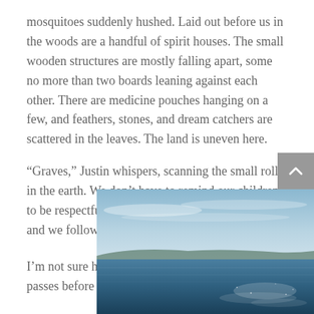mosquitoes suddenly hushed. Laid out before us in the woods are a handful of spirit houses. The small wooden structures are mostly falling apart, some no more than two boards leaning against each other. There are medicine pouches hanging on a few, and feathers, stones, and dream catchers are scattered in the leaves. The land is uneven here.
“Graves,” Justin whispers, scanning the small rolls in the earth. We don’t have to remind our children to be respectful. They fall into a silent reverence, and we follow suit.
I’m not sure how much time passes before the blood-
[Figure (photo): Landscape photo of open water (sea or large lake) with a low island or coastline on the horizon under a pale blue sky with wispy clouds. The water has a glittering, sun-lit surface.]